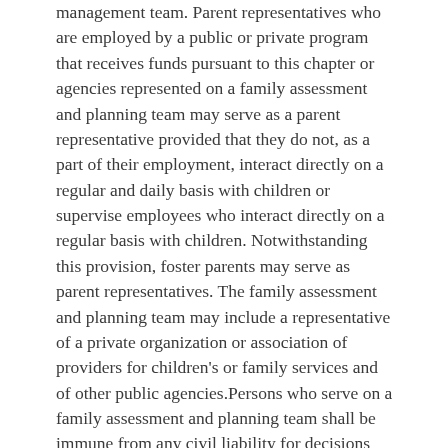management team. Parent representatives who are employed by a public or private program that receives funds pursuant to this chapter or agencies represented on a family assessment and planning team may serve as a parent representative provided that they do not, as a part of their employment, interact directly on a regular and daily basis with children or supervise employees who interact directly on a regular basis with children. Notwithstanding this provision, foster parents may serve as parent representatives. The family assessment and planning team may include a representative of a private organization or association of providers for children's or family services and of other public agencies.Persons who serve on a family assessment and planning team shall be immune from any civil liability for decisions made about the appropriate services for a family or the proper placement or treatment of a child who comes before the team, unless it is proven that such person acted with malicious intent. Any person serving on such team who does not represent a public agency shall